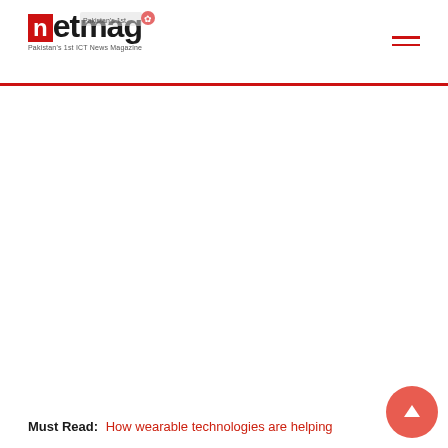netmag — Pakistan's 1st ICT News Magazine
[Figure (illustration): Large white content area placeholder in the main body of the page]
Must Read: How wearable technologies are helping